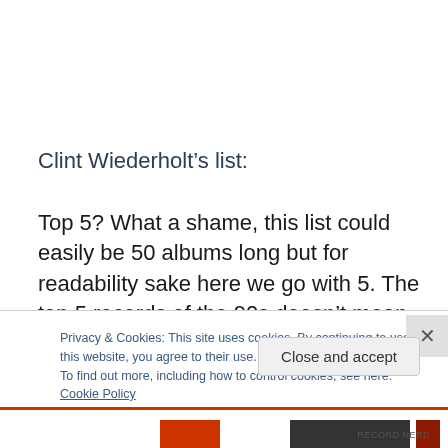Clint Wiederholt’s list:
Top 5? What a shame, this list could easily be 50 albums long but for readability sake here we go with 5. The top 5 records of the 90s doesn’t mean the BEST 5 records of the 90s to me, Bob Dylan’s Time Out of Mind and Tom
Privacy & Cookies: This site uses cookies. By continuing to use this website, you agree to their use.
To find out more, including how to control cookies, see here: Cookie Policy
Close and accept